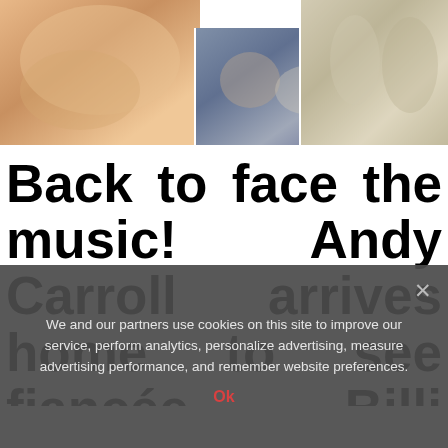[Figure (photo): Three photos: left shows a blonde woman's torso close-up, center shows a couple in bed, right shows a couple standing together dressed formally.]
Back to face the music! Andy Carroll arrives home to see fiancée Billi Mucklow after passing out in bed between TWO
We and our partners use cookies on this site to improve our service, perform analytics, personalize advertising, measure advertising performance, and remember website preferences.
Ok